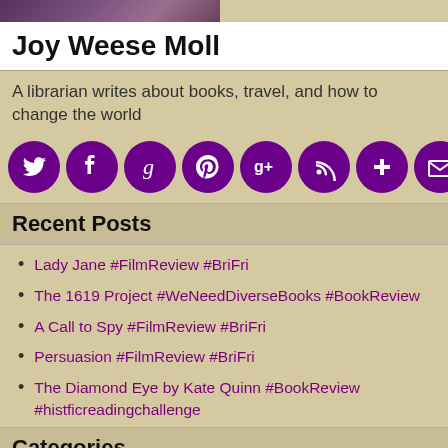[Figure (photo): Partial photo visible at top of page, appears to show a person or scene with purple/muted tones]
Joy Weese Moll
A librarian writes about books, travel, and how to change the world
[Figure (infographic): Row of 8 purple circular social media icons: Twitter, Facebook, Goodreads, Pinterest, Google+, RSS, Add/Bloglovin, Email]
Recent Posts
Lady Jane #FilmReview #BriFri
The 1619 Project #WeNeedDiverseBooks #BookReview
A Call to Spy #FilmReview #BriFri
Persuasion #FilmReview #BriFri
The Diamond Eye by Kate Quinn #BookReview #histficreadingchallenge
Categories
Blogging
Book Clubs
British Isles Friday
Challenges
Diet & Weight Loss